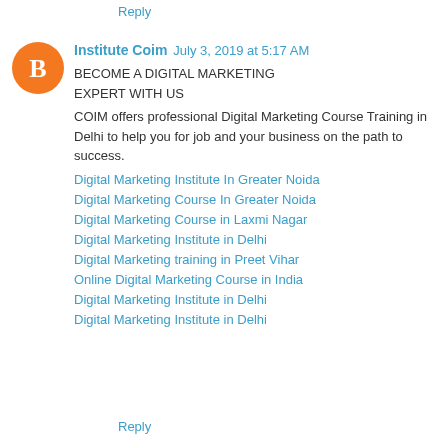Reply
Institute Coim   July 3, 2019 at 5:17 AM
BECOME A DIGITAL MARKETING EXPERT WITH US
COIM offers professional Digital Marketing Course Training in Delhi to help you for job and your business on the path to success.
Digital Marketing Institute In Greater Noida
Digital Marketing Course In Greater Noida
Digital Marketing Course in Laxmi Nagar
Digital Marketing Institute in Delhi
Digital Marketing training in Preet Vihar
Online Digital Marketing Course in India
Digital Marketing Institute in Delhi
Digital Marketing Institute in Delhi
Reply